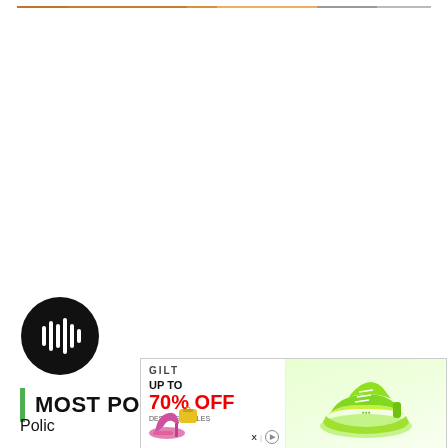[Figure (photo): Partial top edge of an image showing fashion/retail items with orange and gray colors]
[Figure (other): Black circular play button with white audio/play waveform icon]
MOST POPULAR
Polic
[Figure (other): Advertisement banner for Gilt showing up to 70% off designer sales, featuring pink heels and a neon green sneaker]